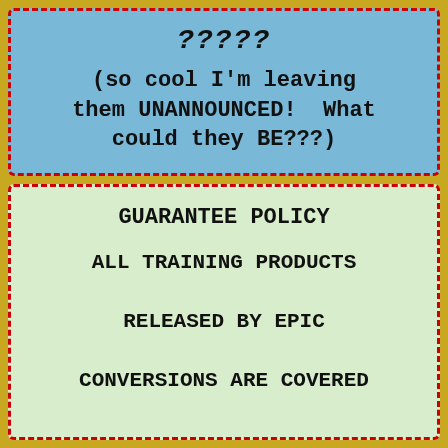????? (so cool I'm leaving them UNANNOUNCED!  What could they BE???)
GUARANTEE POLICY
ALL TRAINING PRODUCTS RELEASED BY EPIC CONVERSIONS ARE COVERED